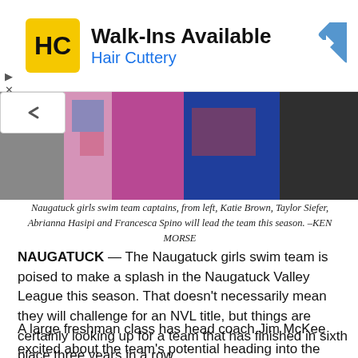[Figure (logo): Hair Cuttery advertisement banner with HC logo, Walk-Ins Available text, and navigation arrow icon]
[Figure (photo): Naugatuck girls swim team captains photo showing three young women in colorful athletic wear]
Naugatuck girls swim team captains, from left, Katie Brown, Taylor Siefer, Abrianna Hasipi and Francesca Spino will lead the team this season. –KEN MORSE
NAUGATUCK — The Naugatuck girls swim team is poised to make a splash in the Naugatuck Valley League this season. That doesn't necessarily mean they will challenge for an NVL title, but things are certainly looking up for a team that has finished in sixth place three years in a row.
A large freshman class has head coach Jim McKee excited about the team's potential heading into the season.